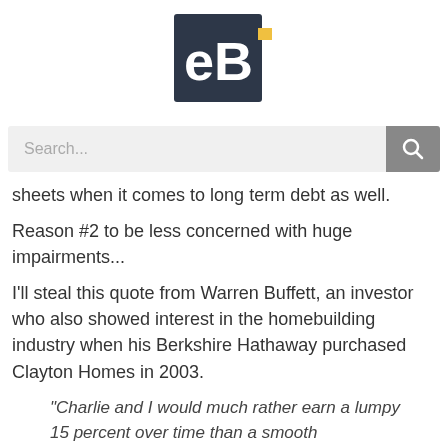[Figure (logo): eB logo — dark navy square with white 'eB' text, yellow accent bar to the right]
[Figure (screenshot): Search bar with placeholder text 'Search...' and a grey search button with magnifying glass icon]
sheets when it comes to long term debt as well.
Reason #2 to be less concerned with huge impairments...
I'll steal this quote from Warren Buffett, an investor who also showed interest in the homebuilding industry when his Berkshire Hathaway purchased Clayton Homes in 2003.
"Charlie and I would much rather earn a lumpy 15 percent over time than a smooth